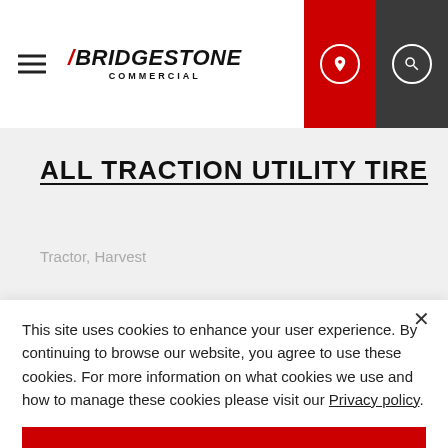Bridgestone Commercial — navigation header with hamburger menu, location icon, and search icon
ALL TRACTION UTILITY TIRE
Tractor, Harvest
This site uses cookies to enhance your user experience. By continuing to browse our website, you agree to use these cookies. For more information on what cookies we use and how to manage these cookies please visit our Privacy policy.
OK